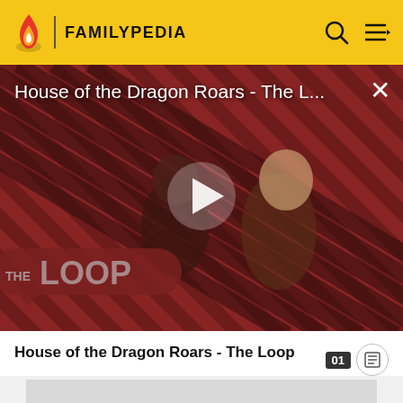FAMILYPEDIA
[Figure (screenshot): Video thumbnail for 'House of the Dragon Roars - The L...' showing two characters from the show against a red diagonal stripe background with a play button overlay and THE LOOP logo in the lower left.]
House of the Dragon Roars - The Loop
Como Pleasure Grounds which houses both salt and fresh water pools.